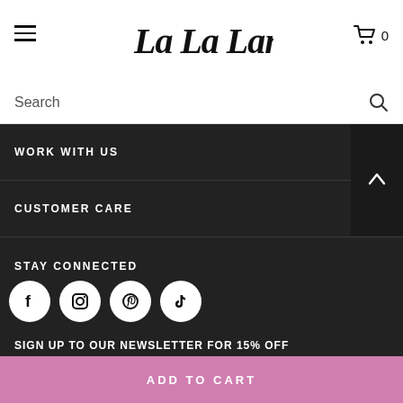[Figure (logo): La La Land script/handwritten logo in black]
Search
WORK WITH US
CUSTOMER CARE
STAY CONNECTED
[Figure (infographic): Social media icons: Facebook, Instagram, Pinterest, TikTok in white circles on dark background]
SIGN UP TO OUR NEWSLETTER FOR 15% OFF
ADD TO CART